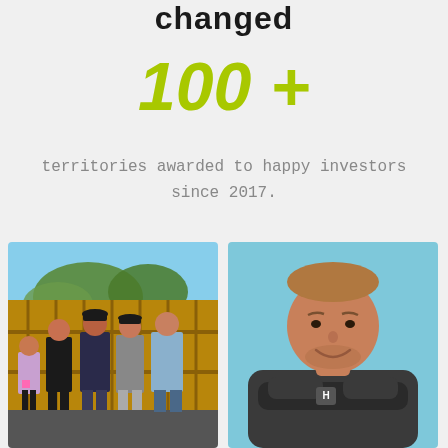changed
100 +
territories awarded to happy investors since 2017.
[Figure (photo): Group of five workers standing by a wooden fence outdoors]
[Figure (photo): Man in dark polo shirt with arms crossed, smiling, on light blue background]